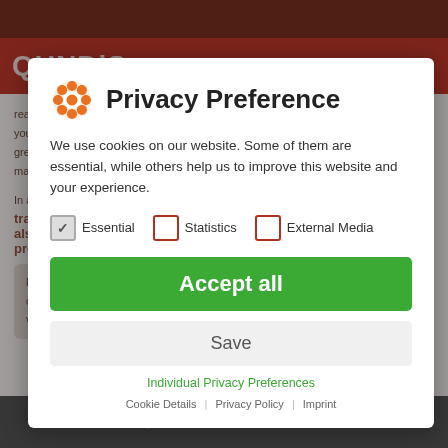[Figure (screenshot): Background website page of QUNDIS company with dark red/brown navigation bar and page content visible behind a modal dialog overlay.]
Privacy Preference
We use cookies on our website. Some of them are essential, while others help us to improve this website and your experience.
Essential (checked)
Statistics (unchecked)
External Media (unchecked)
Accept all
Save
Individual Privacy Preferences
Cookie Details | Privacy Policy | Imprint
CONTACT US!